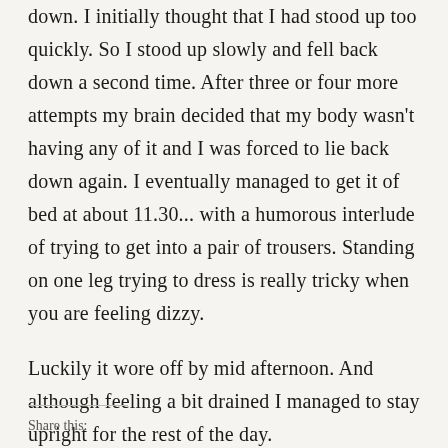down. I initially thought that I had stood up too quickly. So I stood up slowly and fell back down a second time. After three or four more attempts my brain decided that my body wasn't having any of it and I was forced to lie back down again. I eventually managed to get it of bed at about 11.30... with a humorous interlude of trying to get into a pair of trousers. Standing on one leg trying to dress is really tricky when you are feeling dizzy.
Luckily it wore off by mid afternoon. And although feeling a bit drained I managed to stay upright for the rest of the day.
Share this: